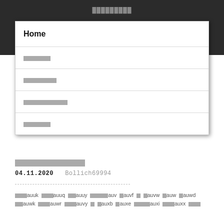█████████
Home
██████
███████
█████████
██████
█████████████
04.11.2020   Bollich69994
███auuk ███auuq ██auuy █████auv █auvf █ █auvw █auw █auwd ██auwk ███auwr ███auvy █ █auxb █auxe ████auxi ███auxx ███